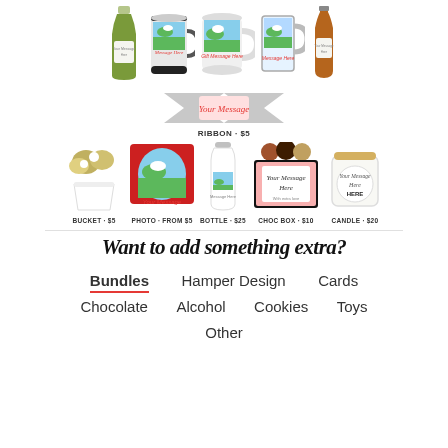[Figure (illustration): Row of personalized drinkware products: wine bottle, travel mug, ceramic mug, glass beer stein, beer bottle]
[Figure (illustration): Ribbon with 'Your Message' text and label RIBBON - $5]
[Figure (illustration): Row of add-on gift products: flower bucket, photo print, water bottle, chocolate box, candle with labels and prices]
Want to add something extra?
Bundles
Hamper Design
Cards
Chocolate
Alcohol
Cookies
Toys
Other